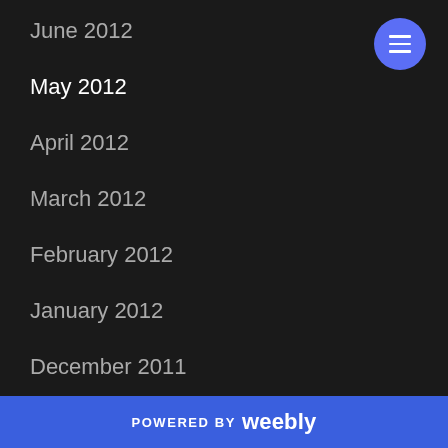June 2012
May 2012
April 2012
March 2012
February 2012
January 2012
December 2011
November 2011
October 2011
September 2011
August 2011
POWERED BY weebly